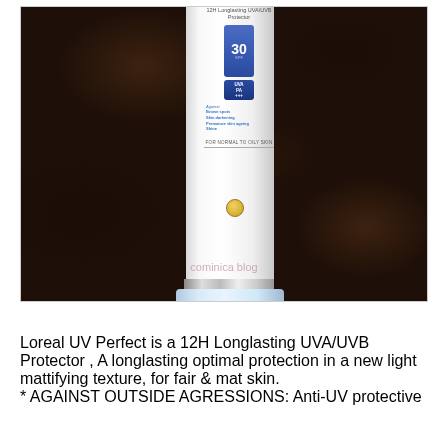[Figure (photo): Photo of a L'Oreal UV Perfect 12H Longlasting UVA/UVB Protector sunscreen tube (SPF 30, UVA PA) lying on dark brown fur. The tube is white with blue label details showing SPF 30, UVA PA ratings, and text listing benefits against brown spots, skin darkening, premature skin ageing, and shine. The label reads FOR NORMAL TO OILY SKIN. There is a watermark reading 'cominica blog' in pink text overlaid on the lower portion of the image.]
Loreal UV Perfect is a 12H Longlasting UVA/UVB Protector , A longlasting optimal protection in a new light mattifying texture, for fair & mat skin.
* AGAINST OUTSIDE AGRESSIONS: Anti-UV protective